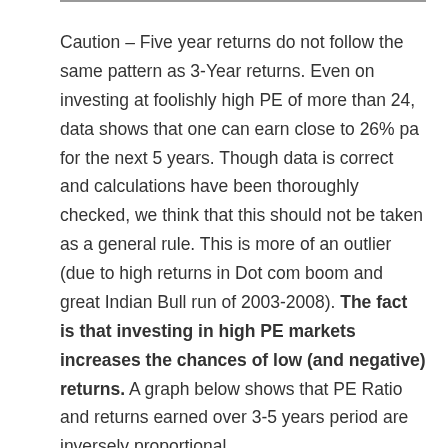Caution – Five year returns do not follow the same pattern as 3-Year returns. Even on investing at foolishly high PE of more than 24, data shows that one can earn close to 26% pa for the next 5 years. Though data is correct and calculations have been thoroughly checked, we think that this should not be taken as a general rule. This is more of an outlier (due to high returns in Dot com boom and great Indian Bull run of 2003-2008). The fact is that investing in high PE markets increases the chances of low (and negative) returns. A graph below shows that PE Ratio and returns earned over 3-5 years period are inversely proportional.